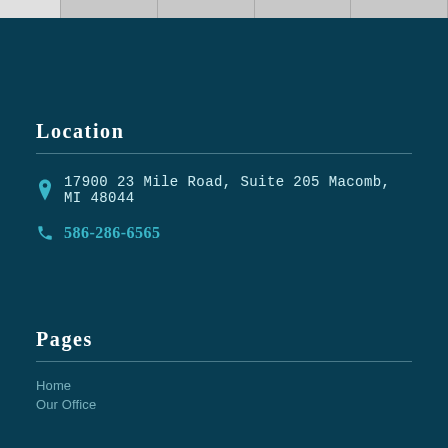Navigation bar strip
Location
17900 23 Mile Road, Suite 205 Macomb, MI 48044
586-286-6565
Pages
Home
Our Office